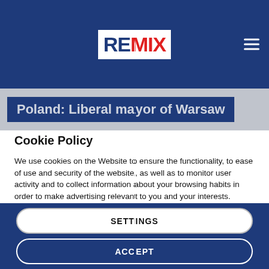REMIX
Poland: Liberal mayor of Warsaw
Cookie Policy
We use cookies on the Website to ensure the functionality, to ease of use and security of the website, as well as to monitor user activity and to collect information about your browsing habits in order to make advertising relevant to you and your interests.
Clicking on "Accept" you can allow all cookies. If you would like to reject or customize, please click on "Settings".
Read more: Cookie Policy
SETTINGS
ACCEPT